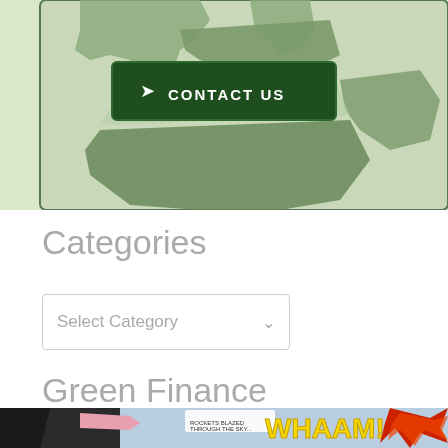[Figure (map): World map with green tones showing Europe, Middle East, Africa regions, with a dark green 'CONTACT US' button overlay]
Categories
[Figure (screenshot): Dropdown select box labeled 'Select Category' with a chevron arrow]
Green Finance
[Figure (illustration): Comic book style illustration showing a pilot/racer with 'WHAAM!' text explosion in red/yellow, pop art style]